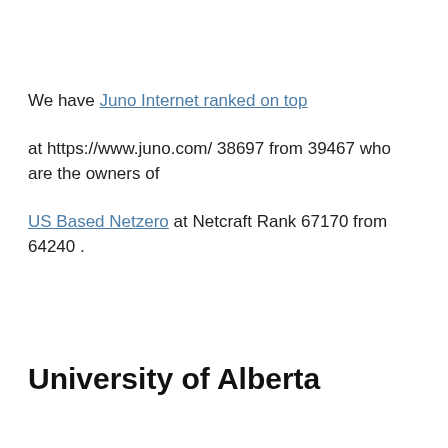We have Juno Internet ranked on top
at https://www.juno.com/ 38697 from 39467 who are the owners of
US Based Netzero at Netcraft Rank 67170 from 64240 .
University of Alberta